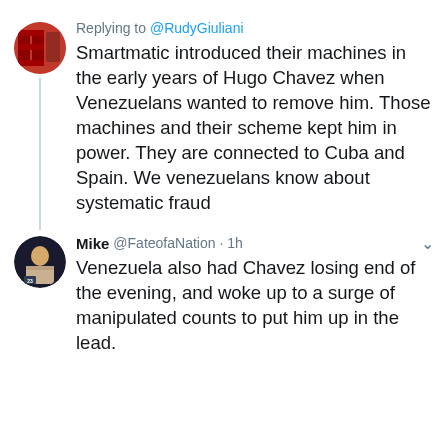Replying to @RudyGiuliani
Smartmatic introduced their machines in the early years of Hugo Chavez when Venezuelans wanted to remove him. Those machines and their scheme kept him in power. They are connected to Cuba and Spain. We venezuelans know about systematic fraud
Mike @FateofaNation · 1h
Venezuela also had Chavez losing end of the evening, and woke up to a surge of manipulated counts to put him up in the lead.